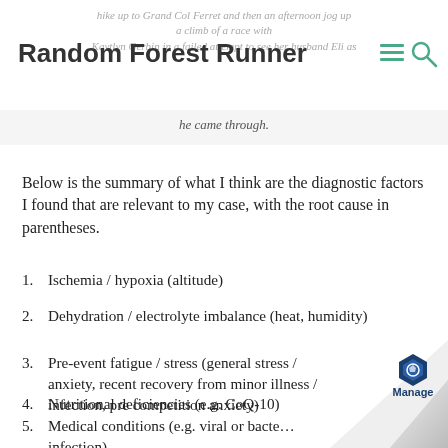Random Forest Runner
hike up to Grand Col Ferret and then an afternoon jog up a climb of a race with Kaytlyn Gerbin in a failed attempt to see her husband Eli as he came through.
Below is the summary of what I think are the diagnostic factors I found that are relevant to my case, with the root cause in parentheses.
Ischemia / hypoxia (altitude)
Dehydration / electrolyte imbalance (heat, humidity)
Pre-event fatigue / stress (general stress / anxiety, recent recovery from minor illness / infection, pre competition anxiety)
Nutritional deficiencies (e.g. CoQ-10)
Medical conditions (e.g. viral or bacterial infection)